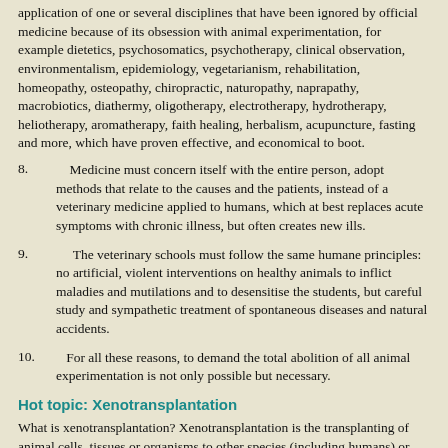application of one or several disciplines that have been ignored by official medicine because of its obsession with animal experimentation, for example dietetics, psychosomatics, psychotherapy, clinical observation, environmentalism, epidemiology, vegetarianism, rehabilitation, homeopathy, osteopathy, chiropractic, naturopathy, naprapathy, macrobiotics, diathermy, oligotherapy, electrotherapy, hydrotherapy, heliotherapy, aromatherapy, faith healing, herbalism, acupuncture, fasting and more, which have proven effective, and economical to boot.
8.    Medicine must concern itself with the entire person, adopt methods that relate to the causes and the patients, instead of a veterinary medicine applied to humans, which at best replaces acute symptoms with chronic illness, but often creates new ills.
9.    The veterinary schools must follow the same humane principles: no artificial, violent interventions on healthy animals to inflict maladies and mutilations and to desensitise the students, but careful study and sympathetic treatment of spontaneous diseases and natural accidents.
10.   For all these reasons, to demand the total abolition of all animal experimentation is not only possible but necessary.
Hot topic: Xenotransplantation
What is xenotransplantation? Xenotransplantation is the transplanting of animal cells, tissues or organisms to other species (including humans) or mixing body materials between different animal species. This includes such